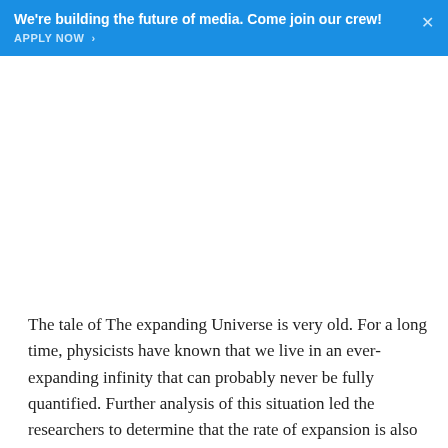We're building the future of media. Come join our crew! APPLY NOW >
The tale of The expanding Universe is very old. For a long time, physicists have known that we live in an ever-expanding infinity that can probably never be fully quantified. Further analysis of this situation led the researchers to determine that the rate of expansion is also increasing. This was determined as compared to the rate of expansion of 4 Billion years ago. The researchers